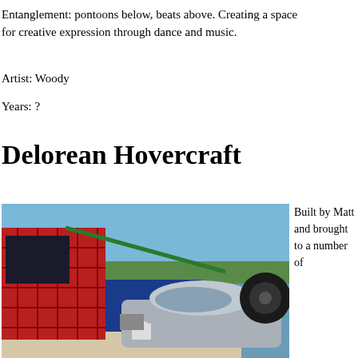Entanglement: pontoons below, beats above. Creating a space for creative expression through dance and music.
Artist: Woody
Years: ?
Delorean Hovercraft
[Figure (photo): A hovercraft on water, styled to resemble a DeLorean car body mounted on a flat pontoon boat. The left side shows a red tartan-patterned structure with blue metal sides. The vehicle has a gull-wing style canopy and is floating on a calm body of water with trees visible in the background under a blue sky.]
Built by Matt and brought to a number of